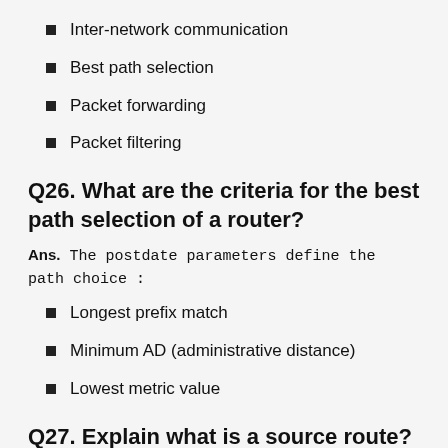Inter-network communication
Best path selection
Packet forwarding
Packet filtering
Q26. What are the criteria for the best path selection of a router?
Ans. The postdate parameters define the path choice :
Longest prefix match
Minimum AD (administrative distance)
Lowest metric value
Q27. Explain what is a source route?
Ans. The source route is defined as a sequence of IP